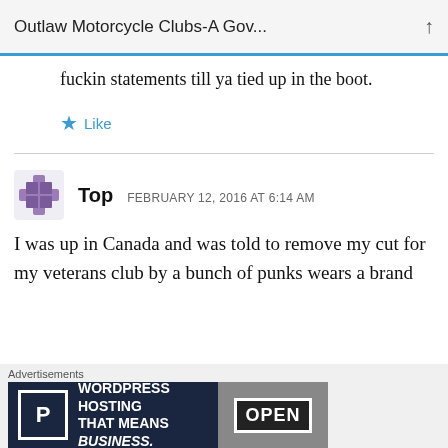Outlaw Motorcycle Clubs-A Gov...
fuckin statements till ya tied up in the boot.
Like
Top   FEBRUARY 12, 2016 AT 6:14 AM
I was up in Canada and was told to remove my cut for my veterans club by a bunch of punks wears a brand
[Figure (screenshot): Advertisement banner: WordPress Hosting That Means Business with P icon and OPEN sign image]
Advertisements